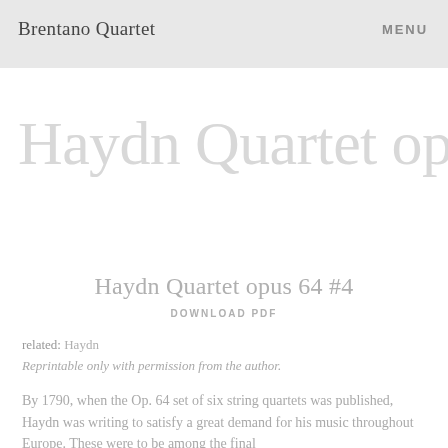Brentano Quartet | MENU
Haydn Quartet opus 64 #4
Haydn Quartet opus 64 #4
DOWNLOAD PDF
related: Haydn
Reprintable only with permission from the author.
By 1790, when the Op. 64 set of six string quartets was published, Haydn was writing to satisfy a great demand for his music throughout Europe. These were to be among the final